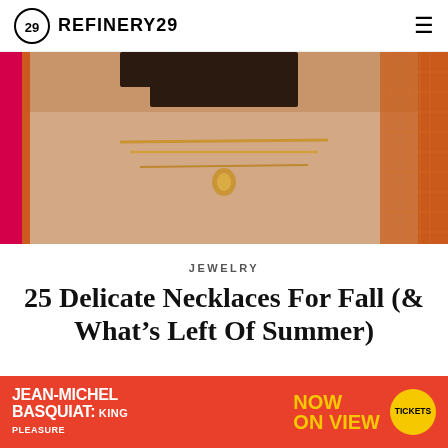REFINERY29
[Figure (photo): Woman wearing layered gold chains and charm necklaces, colorful background with orange and magenta panels]
JEWELRY
25 Delicate Necklaces For Fall (& What's Left Of Summer)
ALYSSA COSCARELLI, EMILY RUANE, VIVIEN LEE
AUGUST 26, 2022 6:25 PM
[Figure (photo): Jean-Michel Basquiat: King Pleasure exhibition advertisement — orange/red background]
[Figure (infographic): Jean-Michel Basquiat King Pleasure NOW ON VIEW advertisement with yellow TICKETS button]